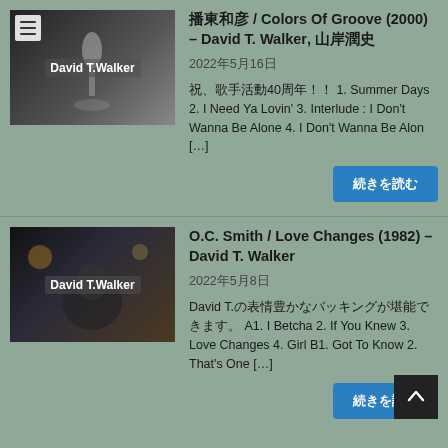[Figure (photo): Black and white photo of a singer at microphone, thumbnail labeled 'David T.Walker' with hamburger menu icon in top left]
播東和彦 / Colors Of Groove (2000) – David T. Walker, 山岸潤史
2022年5月16日
祝、歌手活動40周年！！ 1. Summer Days 2. I Need Ya Lovin' 3. Interlude : I Don't Wanna Be Alone 4. I Don't Wanna Be Alon […]
[Figure (photo): Photo of a man in tuxedo under stage lights, thumbnail labeled 'David T.Walker']
O.C. Smith / Love Changes (1982) – David T. Walker
2022年5月8日
David T.の表情豊かなバッキングが堪能できます。 A1. I Betcha 2. If You Knew 3. Love Changes 4. Girl B1. Got To Know 2. That's One […]